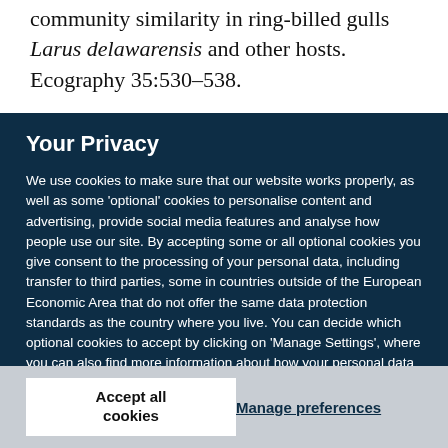community similarity in ring-billed gulls Larus delawarensis and other hosts. Ecography 35:530–538.
Your Privacy
We use cookies to make sure that our website works properly, as well as some 'optional' cookies to personalise content and advertising, provide social media features and analyse how people use our site. By accepting some or all optional cookies you give consent to the processing of your personal data, including transfer to third parties, some in countries outside of the European Economic Area that do not offer the same data protection standards as the country where you live. You can decide which optional cookies to accept by clicking on 'Manage Settings', where you can also find more information about how your personal data is processed. Further information can be found in our privacy policy.
Accept all cookies
Manage preferences